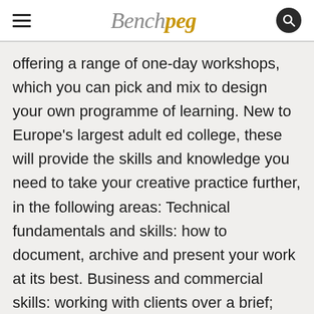Benchpeg
offering a range of one-day workshops, which you can pick and mix to design your own programme of learning. New to Europe's largest adult ed college, these will provide the skills and knowledge you need to take your creative practice further, in the following areas: Technical fundamentals and skills: how to document, archive and present your work at its best. Business and commercial skills: working with clients over a brief; promoting and selling your work; running studio or a creative practice;